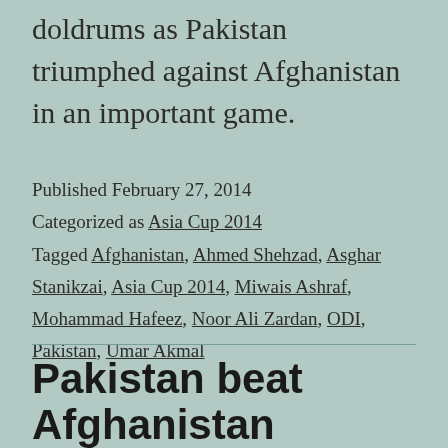doldrums as Pakistan triumphed against Afghanistan in an important game.
Published February 27, 2014
Categorized as Asia Cup 2014
Tagged Afghanistan, Ahmed Shehzad, Asghar Stanikzai, Asia Cup 2014, Miwais Ashraf, Mohammad Hafeez, Noor Ali Zardan, ODI, Pakistan, Umar Akmal
Pakistan beat Afghanistan